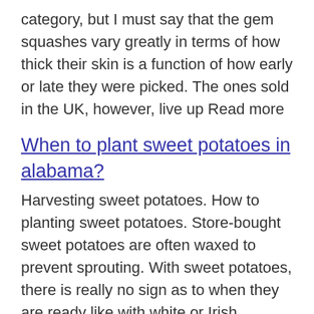category, but I must say that the gem squashes vary greatly in terms of how thick their skin is a function of how early or late they were picked. The ones sold in the UK, however, live up Read more
When to plant sweet potatoes in alabama?
Harvesting sweet potatoes. How to planting sweet potatoes. Store-bought sweet potatoes are often waxed to prevent sprouting. With sweet potatoes, there is really no sign as to when they are ready like with white or Irish potatoes when the stems or vines start to die Read more